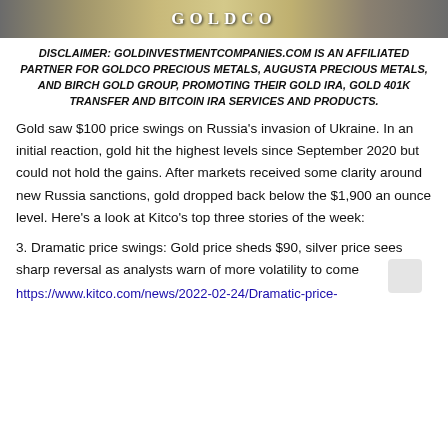[Figure (photo): Goldco banner/header image with logo text GOLDCO centered on a gold/metallic background]
DISCLAIMER: GOLDINVESTMENTCOMPANIES.COM IS AN AFFILIATED PARTNER FOR GOLDCO PRECIOUS METALS, AUGUSTA PRECIOUS METALS, AND BIRCH GOLD GROUP, PROMOTING THEIR GOLD IRA, GOLD 401K TRANSFER AND BITCOIN IRA SERVICES AND PRODUCTS.
Gold saw $100 price swings on Russia's invasion of Ukraine. In an initial reaction, gold hit the highest levels since September 2020 but could not hold the gains. After markets received some clarity around new Russia sanctions, gold dropped back below the $1,900 an ounce level. Here's a look at Kitco's top three stories of the week:
3. Dramatic price swings: Gold price sheds $90, silver price sees sharp reversal as analysts warn of more volatility to come
https://www.kitco.com/news/2022-02-24/Dramatic-price-